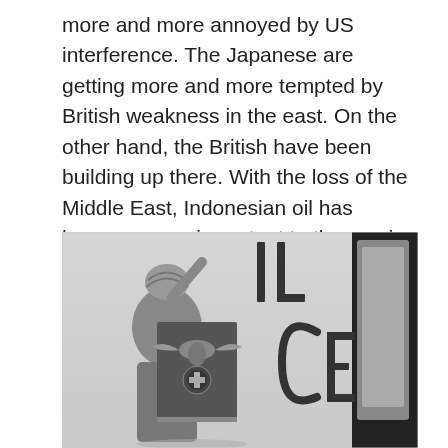more and more annoyed by US interference. The Japanese are getting more and more tempted by British weakness in the east. On the other hand, the British have been building up there. With the loss of the Middle East, Indonesian oil has become more important to the empire. Combat power that would have gone to the Middle East goes to Malaysia and Singapore.
[Figure (photo): Black and white historical photograph showing a person wearing a turban and military-style coat holding what appears to be a Nazi German eagle and swastika flag against a white wall with graffiti letters painted on it. A dark doorway is visible on the right side of the image.]